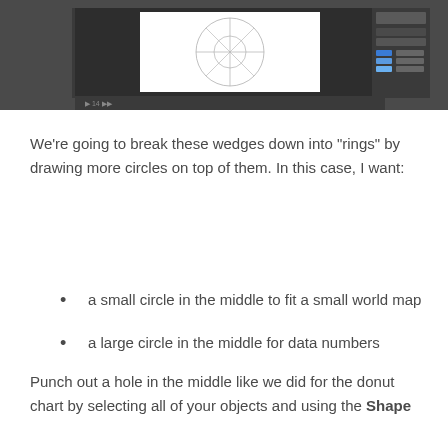[Figure (screenshot): Screenshot of a design application (likely Adobe Illustrator) showing a dark interface with a white canvas containing circle/pie chart outlines and a layers/properties panel on the right side.]
We're going to break these wedges down into “rings” by drawing more circles on top of them. In this case, I want:
a small circle in the middle to fit a small world map
a large circle in the middle for data numbers
Punch out a hole in the middle like we did for the donut chart by selecting all of your objects and using the Shape